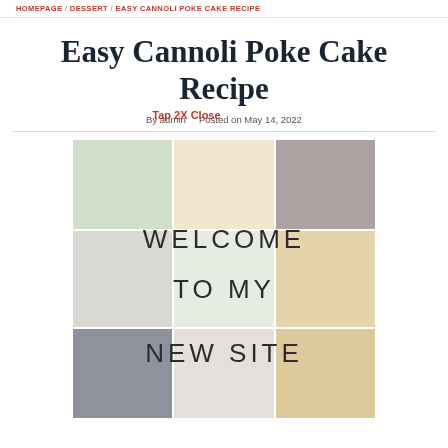HOMEPAGE / DESSERT / EASY CANNOLI POKE CAKE RECIPE
Easy Cannoli Poke Cake Recipe
By admin   Posted on May 14, 2022
Tap 2X Close
[Figure (photo): Food collage with multiple dish photos and overlay text reading WELCOME TO MY NEW SITE]